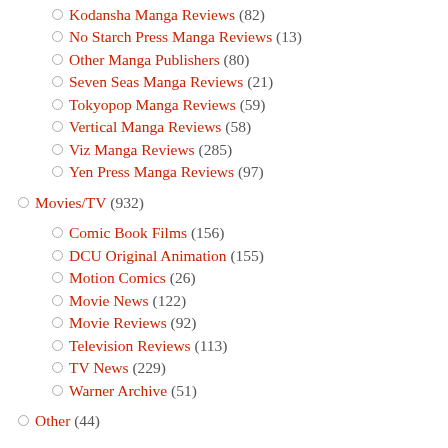Kodansha Manga Reviews (82)
No Starch Press Manga Reviews (13)
Other Manga Publishers (80)
Seven Seas Manga Reviews (21)
Tokyopop Manga Reviews (59)
Vertical Manga Reviews (58)
Viz Manga Reviews (285)
Yen Press Manga Reviews (97)
Movies/TV (932)
Comic Book Films (156)
DCU Original Animation (155)
Motion Comics (26)
Movie News (122)
Movie Reviews (92)
Television Reviews (113)
TV News (229)
Warner Archive (51)
Other (44)